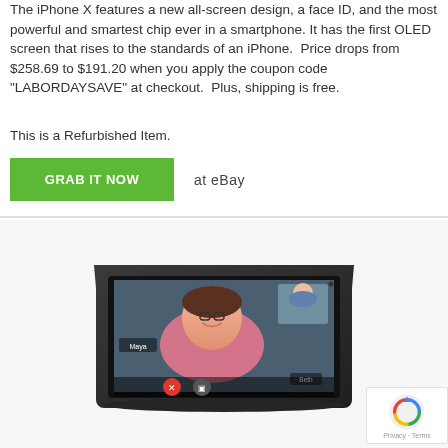The iPhone X features a new all-screen design, a face ID, and the most powerful and smartest chip ever in a smartphone. It has the first OLED screen that rises to the standards of an iPhone.  Price drops from $258.69 to $191.20 when you apply the coupon code "LABORDAYSAVE" at checkout.  Plus, shipping is free.
This is a Refurbished Item.
GRAB IT NOW   at eBay
[Figure (photo): Amazon Echo Show 5 smart display device with a video call displayed on screen showing a smiling woman, with call controls visible. Device is dark charcoal/black color with a screen angled upward.]